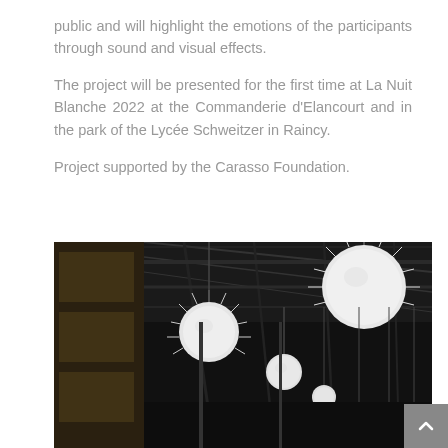public and will highlight the emotions of the participants through sound and visual effects.

The project will be presented for the first time at La Nuit Blanche 2022 at the Commanderie d'Elancourt and in the park of the Lycée Schweitzer in Raincy.

Project supported by the Carasso Foundation.
[Figure (photo): Indoor venue with black metal ceiling structure and hanging white spherical light installations of various sizes suspended from the ceiling, photographed in black and white.]